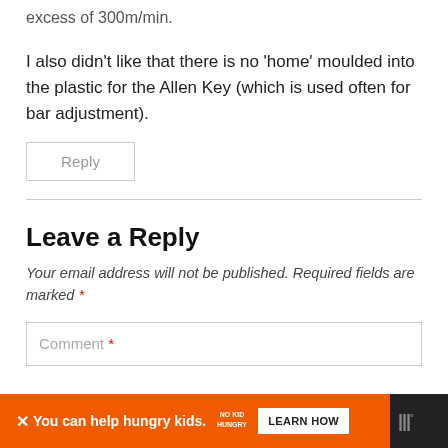excess of 300m/min.
I also didn't like that there is no 'home' moulded into the plastic for the Allen Key (which is used often for bar adjustment).
Reply
Leave a Reply
Your email address will not be published. Required fields are marked *
Comment *
You can help hungry kids. NO KID HUNGRY LEARN HOW